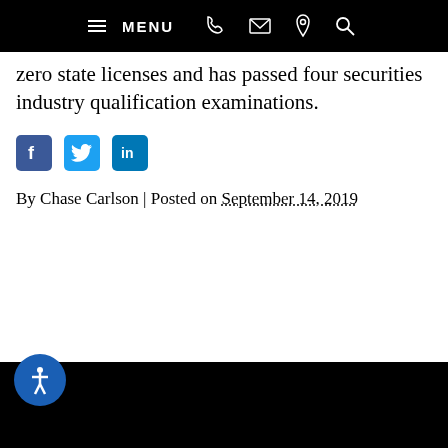MENU
zero state licenses and has passed four securities industry qualification examinations.
[Figure (other): Social media share icons: Facebook, Twitter, LinkedIn]
By Chase Carlson | Posted on September 14, 2019
[Figure (other): Black background area — page footer/content region]